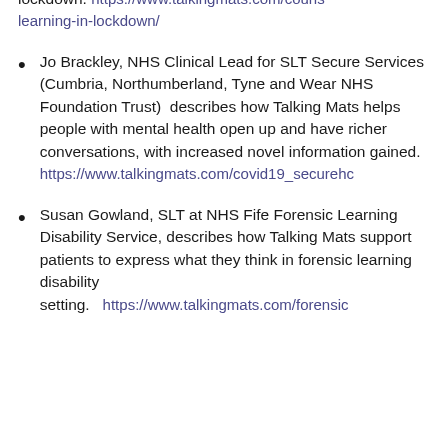lockdown. https://www.talkingmats.com/couns learning-in-lockdown/
Jo Brackley, NHS Clinical Lead for SLT Secure Services (Cumbria, Northumberland, Tyne and Wear NHS Foundation Trust)  describes how Talking Mats helps people with mental health open up and have richer conversations, with increased novel information gained. https://www.talkingmats.com/covid19_securehc
Susan Gowland, SLT at NHS Fife Forensic Learning Disability Service, describes how Talking Mats support patients to express what they think in forensic learning disability setting.  https://www.talkingmats.com/forensic